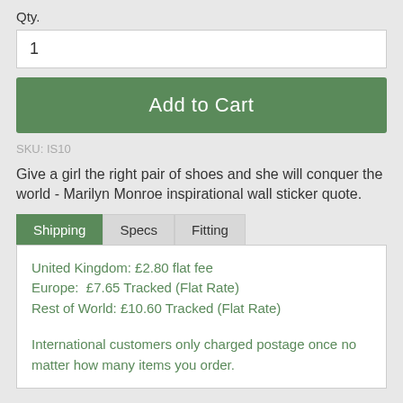Qty.
1
Add to Cart
SKU: IS10
Give a girl the right pair of shoes and she will conquer the world - Marilyn Monroe inspirational wall sticker quote.
Shipping
Specs
Fitting
United Kingdom: £2.80 flat fee
Europe:  £7.65 Tracked (Flat Rate)
Rest of World: £10.60 Tracked (Flat Rate)

International customers only charged postage once no matter how many items you order.